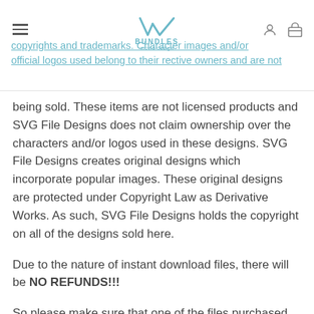BUNDLES movie design — navigation header with logo, hamburger menu, user icon, cart icon
copyrights and trademarks. Character images and/or official logos used belong to their rective owners and are not being sold. These items are not licensed products and SVG File Designs does not claim ownership over the characters and/or logos used in these designs. SVG File Designs creates original designs which incorporate popular images. These original designs are protected under Copyright Law as Derivative Works. As such, SVG File Designs holds the copyright on all of the designs sold here.
Due to the nature of instant download files, there will be NO REFUNDS!!!
So please make sure that one of the files purchased will work with your cutting machine or is appropriate for the project you are trying to complete.